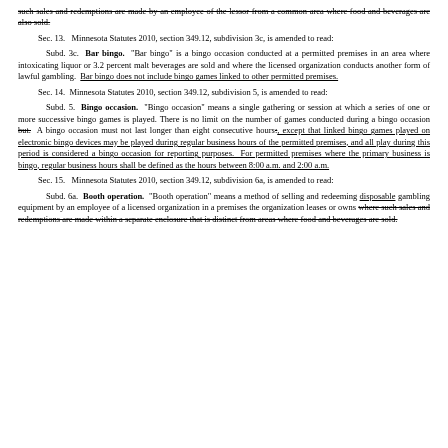such sales and redemptions are made by an employee of the lessor from a common area where food and beverages are also sold. [strikethrough]
Sec. 13. Minnesota Statutes 2010, section 349.12, subdivision 3c, is amended to read:
Subd. 3c. Bar bingo. "Bar bingo" is a bingo occasion conducted at a permitted premises in an area where intoxicating liquor or 3.2 percent malt beverages are sold and where the licensed organization conducts another form of lawful gambling. Bar bingo does not include bingo games linked to other permitted premises. [last two sentences underlined]
Sec. 14. Minnesota Statutes 2010, section 349.12, subdivision 5, is amended to read:
Subd. 5. Bingo occasion. "Bingo occasion" means a single gathering or session at which a series of one or more successive bingo games is played. There is no limit on the number of games conducted during a bingo occasion but. A bingo occasion must not last longer than eight consecutive hours:, except that linked bingo games played on electronic bingo devices may be played during regular business hours of the permitted premises, and all play during this period is considered a bingo occasion for reporting purposes. For permitted premises where the primary business is bingo, regular business hours shall be defined as the hours between 8:00 a.m. and 2:00 a.m.
Sec. 15. Minnesota Statutes 2010, section 349.12, subdivision 6a, is amended to read:
Subd. 6a. Booth operation. "Booth operation" means a method of selling and redeeming disposable gambling equipment by an employee of a licensed organization in a premises the organization leases or owns where such sales and redemptions are made within a separate enclosure that is distinct from areas where food and beverages are sold.